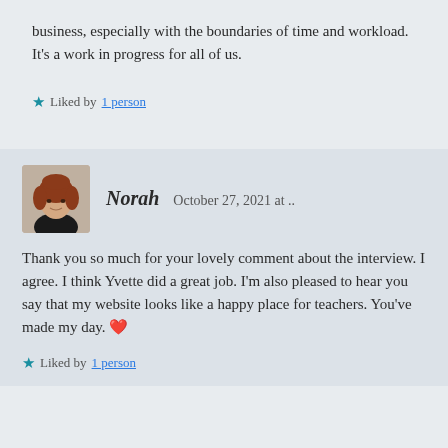business, especially with the boundaries of time and workload. It's a work in progress for all of us.
★ Liked by 1 person
Norah   October 27, 2021 at ..
Thank you so much for your lovely comment about the interview. I agree. I think Yvette did a great job. I'm also pleased to hear you say that my website looks like a happy place for teachers. You've made my day. ❤️
★ Liked by 1 person